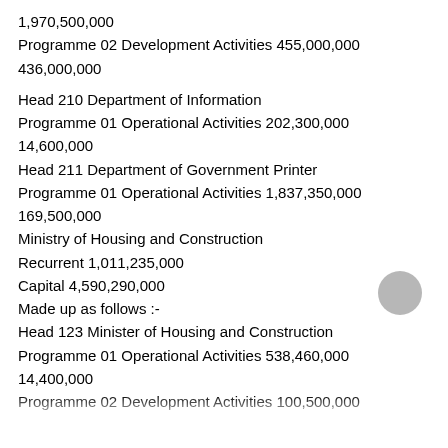1,970,500,000
Programme 02 Development Activities 455,000,000
436,000,000
Head 210 Department of Information
Programme 01 Operational Activities 202,300,000
14,600,000
Head 211 Department of Government Printer
Programme 01 Operational Activities 1,837,350,000
169,500,000
Ministry of Housing and Construction
Recurrent 1,011,235,000
Capital 4,590,290,000
Made up as follows :-
Head 123 Minister of Housing and Construction
Programme 01 Operational Activities 538,460,000
14,400,000
Programme 02 Development Activities 100,500,000